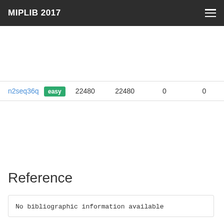MIPLIB 2017
| Name | Tag | Col1 | Col2 | Col3 | Col4 |
| --- | --- | --- | --- | --- | --- |
| n2seq36q | easy | 22480 | 22480 | 0 | 0 |
Reference
No bibliographic information available